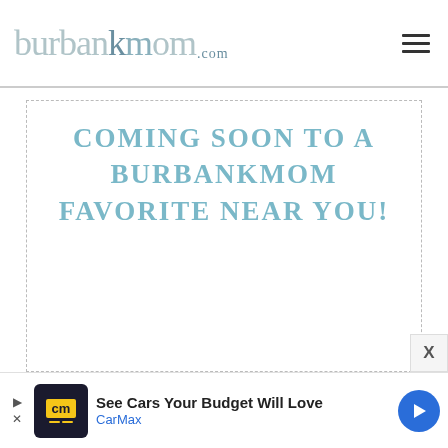burbankmom.com
COMING SOON TO A BURBANKMOM FAVORITE NEAR YOU!
[Figure (screenshot): Advertisement banner for CarMax: 'See Cars Your Budget Will Love' with CarMax logo and blue arrow icon]